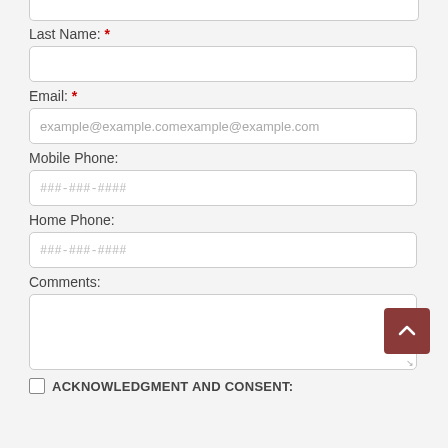Last Name: *
Email: *
Mobile Phone:
Home Phone:
Comments:
ACKNOWLEDGMENT AND CONSENT: